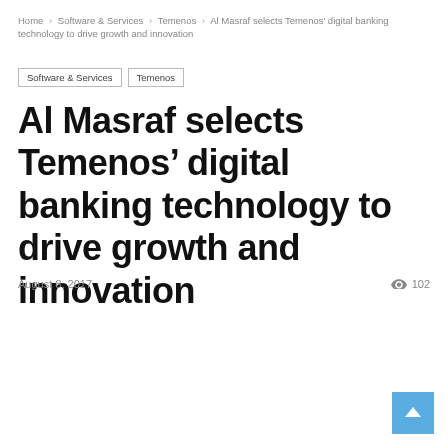Home › Software & Services › Temenos › Al Masraf selects Temenos' digital banking technology to drive growth and innovation
Software & Services   Temenos
Al Masraf selects Temenos' digital banking technology to drive growth and innovation
August 8, 2017   102